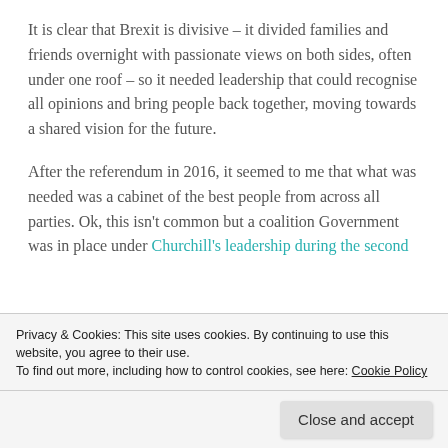It is clear that Brexit is divisive – it divided families and friends overnight with passionate views on both sides, often under one roof – so it needed leadership that could recognise all opinions and bring people back together, moving towards a shared vision for the future.
After the referendum in 2016, it seemed to me that what was needed was a cabinet of the best people from across all parties. Ok, this isn't common but a coalition Government was in place under Churchill's leadership during the second World War and working together now for the good of the country is just as important now as we negotiate our way out of the
Privacy & Cookies: This site uses cookies. By continuing to use this website, you agree to their use.
To find out more, including how to control cookies, see here: Cookie Policy
Close and accept
more conflict. The greater the challenge, the more